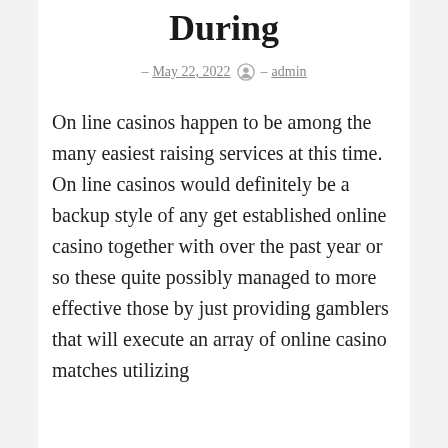During
– May 22, 2022  – admin
On line casinos happen to be among the many easiest raising services at this time. On line casinos would definitely be a backup style of any get established online casino together with over the past year or so these quite possibly managed to more effective those by just providing gamblers that will execute an array of online casino matches utilizing